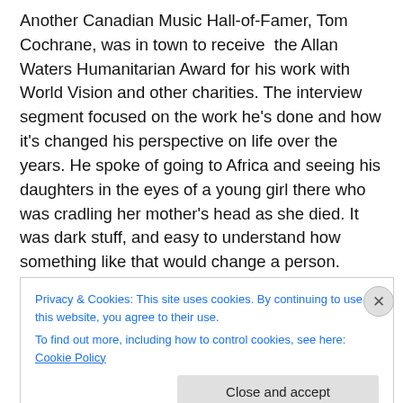Another Canadian Music Hall-of-Famer, Tom Cochrane, was in town to receive  the Allan Waters Humanitarian Award for his work with World Vision and other charities. The interview segment focused on the work he's done and how it's changed his perspective on life over the years. He spoke of going to Africa and seeing his daughters in the eyes of a young girl there who was cradling her mother's head as she died. It was dark stuff, and easy to understand how something like that would change a person.
Privacy & Cookies: This site uses cookies. By continuing to use this website, you agree to their use.
To find out more, including how to control cookies, see here: Cookie Policy
Close and accept